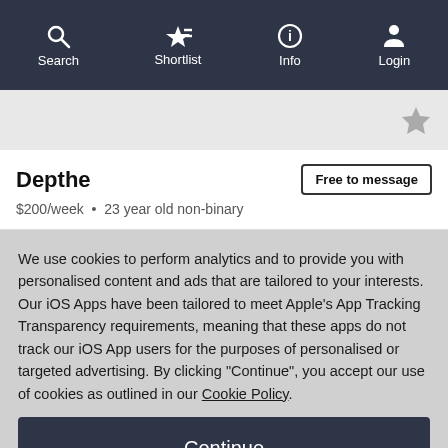Search  Shortlist  Info  Login
Depthe
$200/week  •  23 year old non-binary
Free to message
We use cookies to perform analytics and to provide you with personalised content and ads that are tailored to your interests. Our iOS Apps have been tailored to meet Apple's App Tracking Transparency requirements, meaning that these apps do not track our iOS App users for the purposes of personalised or targeted advertising. By clicking "Continue", you accept our use of cookies as outlined in our Cookie Policy.
Continue